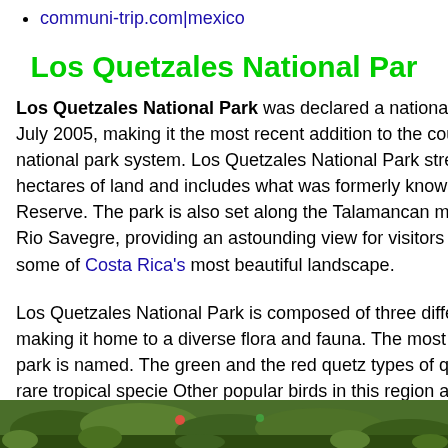communi-trip.com|mexico
Los Quetzales National Park
Los Quetzales National Park was declared a national park in Costa Rica in July 2005, making it the most recent addition to the country's already large national park system. Los Quetzales National Park stretches across 5,000 hectares of land and includes what was formerly known as Los Santos Forest Reserve. The park is also set along the Talamancan mountain range and the Rio Savegre, providing an astounding view for visitors and encompassing some of Costa Rica's most beautiful landscape.
Los Quetzales National Park is composed of three different types of rain forest and fourteen ecosystems, making it home to a diverse flora and fauna. The most popular animal to see is the quetzal bird, for which the park is named. The green and the red quetzal types of quetzal bird found in the park, and both are part of a rare tropical species. Other popular birds in this region are the colibri, known for making cone-shaped hummingbird.
[Figure (photo): Photo of vegetation/wildlife at Los Quetzales National Park]